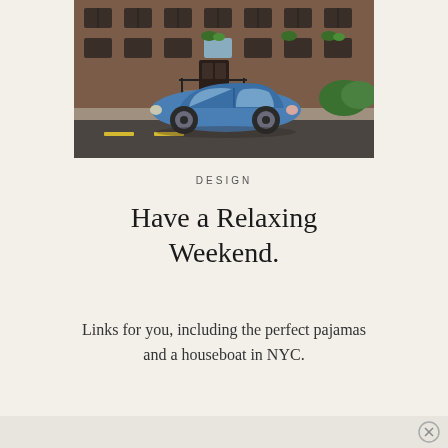[Figure (photo): A vintage blue Citroën 2CV parked on a street in front of a brownstone building in New York City, with green plants visible on window ledges and railings.]
DESIGN
Have a Relaxing Weekend.
Links for you, including the perfect pajamas and a houseboat in NYC.